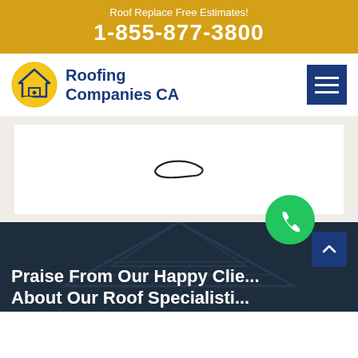Roof Replace Free Estimates!
1-855-877-3800
[Figure (logo): Roofing Companies CA logo with house/roof icon in yellow and blue, and text 'Roofing Companies CA' in navy blue]
[Figure (screenshot): White map area with a small leaf/island shape drawn in black outline]
[Figure (infographic): Green circular phone call button (FAB)]
Praise From Our Clie...
About Our Roof Specialisti...